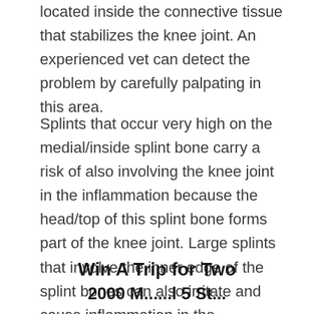located inside the connective tissue that stabilizes the knee joint. An experienced vet can detect the problem by carefully palpating in this area.
Splints that occur very high on the medial/inside splint bone carry a risk of also involving the knee joint in the inflammation because the head/top of this splint bone forms part of the knee joint. Large splints that involve the inner edge of the splint bones can also irritate and cause inflammation in the suspensory ligament.
Win A Trip for Two